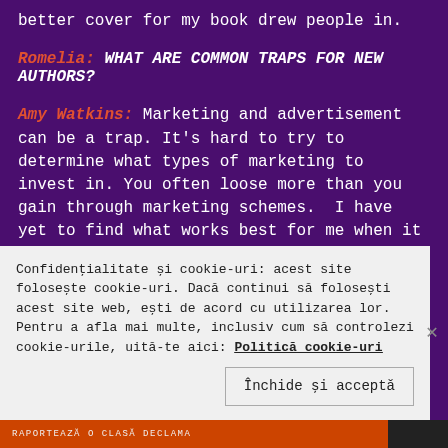better cover for my book drew people in.
Romelia: WHAT ARE COMMON TRAPS FOR NEW AUTHORS?
Amy Watkins: Marketing and advertisement can be a trap. It's hard to try to determine what types of marketing to invest in. You often loose more than you gain through marketing schemes.  I have yet to find what works best for me when it comes to marketing.
Confidențialitate și cookie-uri: acest site folosește cookie-uri. Dacă continui să folosești acest site web, ești de acord cu utilizarea lor.
Pentru a afla mai multe, inclusiv cum să controlezi cookie-urile, uită-te aici: Politică cookie-uri
Închide și acceptă
RAPORTEAZĂ O CLASĂ DECLAMA